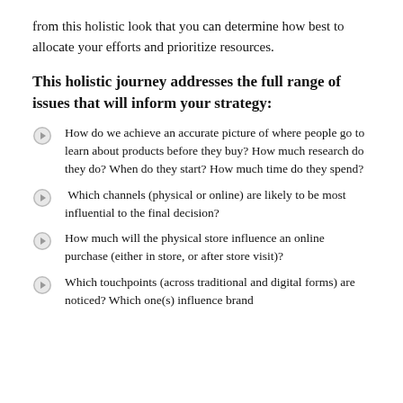from this holistic look that you can determine how best to allocate your efforts and prioritize resources.
This holistic journey addresses the full range of issues that will inform your strategy:
How do we achieve an accurate picture of where people go to learn about products before they buy? How much research do they do? When do they start? How much time do they spend?
Which channels (physical or online) are likely to be most influential to the final decision?
How much will the physical store influence an online purchase (either in store, or after store visit)?
Which touchpoints (across traditional and digital forms) are noticed? Which one(s) influence brand